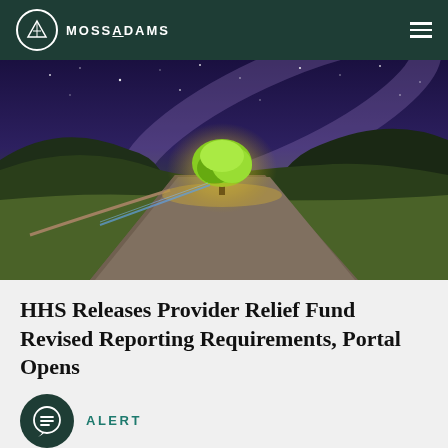MOSSADAMS
[Figure (photo): Nighttime landscape photo showing a long straight road leading to a glowing tree in a valley, with the Milky Way visible in the purple-blue sky above green hills.]
HHS Releases Provider Relief Fund Revised Reporting Requirements, Portal Opens
ALERT